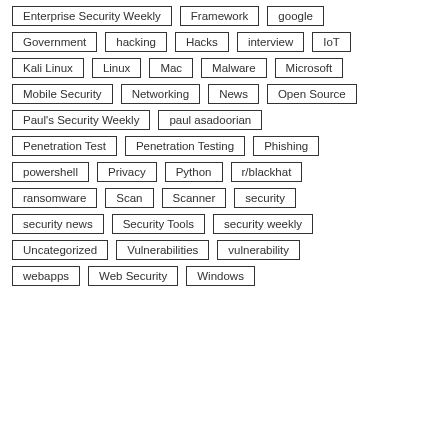Enterprise Security Weekly
Framework
google
Government
hacking
Hacks
interview
IoT
Kali Linux
Linux
Mac
Malware
Microsoft
Mobile Security
Networking
News
Open Source
Paul's Security Weekly
paul asadoorian
Penetration Test
Penetration Testing
Phishing
powershell
Privacy
Python
r/blackhat
ransomware
Scan
Scanner
security
security news
Security Tools
security weekly
Uncategorized
Vulnerabilities
vulnerability
webapps
Web Security
Windows